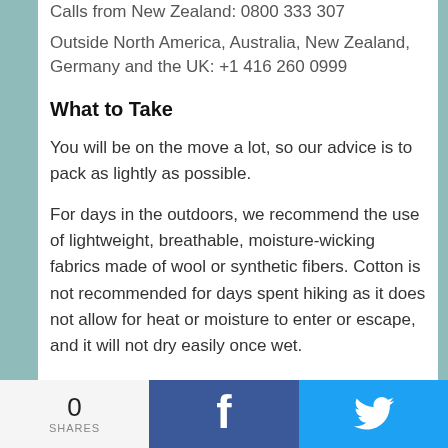Calls from New Zealand: 0800 333 307
Outside North America, Australia, New Zealand, Germany and the UK: +1 416 260 0999
What to Take
You will be on the move a lot, so our advice is to pack as lightly as possible.
For days in the outdoors, we recommend the use of lightweight, breathable, moisture-wicking fabrics made of wool or synthetic fibers. Cotton is not recommended for days spent hiking as it does not allow for heat or moisture to enter or escape, and it will not dry easily once wet.
0 SHARES | Facebook | Twitter